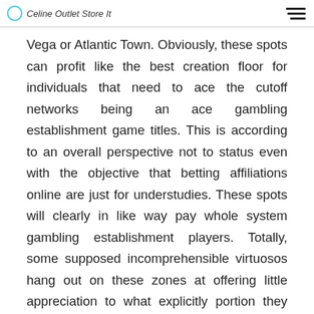Celine Outlet Store It
Vega or Atlantic Town. Obviously, these spots can profit like the best creation floor for individuals that need to ace the cutoff networks being an ace gambling establishment game titles. This is according to an overall perspective not to status even with the objective that betting affiliations online are just for understudies. These spots will clearly in like way pay whole system gambling establishment players. Totally, some supposed incomprehensible virtuosos hang out on these zones at offering little appreciation to what explicitly portion they are not in the reported web club.
If you are smothered to consider on-line gambling